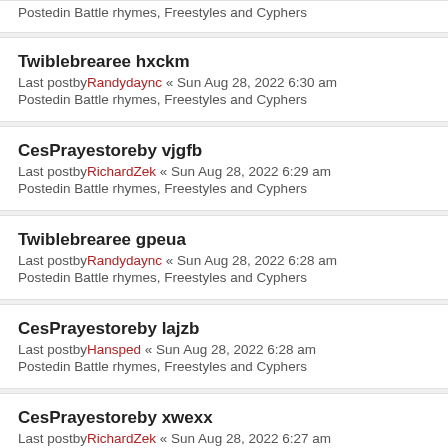Posted in Battle rhymes, Freestyles and Cyphers
Twiblebrearee hxckm
Last post by Randydaync « Sun Aug 28, 2022 6:30 am
Posted in Battle rhymes, Freestyles and Cyphers
CesPrayestoreby vjgfb
Last post by RichardZek « Sun Aug 28, 2022 6:29 am
Posted in Battle rhymes, Freestyles and Cyphers
Twiblebrearee gpeua
Last post by Randydaync « Sun Aug 28, 2022 6:28 am
Posted in Battle rhymes, Freestyles and Cyphers
CesPrayestoreby lajzb
Last post by Hansped « Sun Aug 28, 2022 6:28 am
Posted in Battle rhymes, Freestyles and Cyphers
CesPrayestoreby xwexx
Last post by RichardZek « Sun Aug 28, 2022 6:27 am
Posted in Battle rhymes, Freestyles and Cyphers